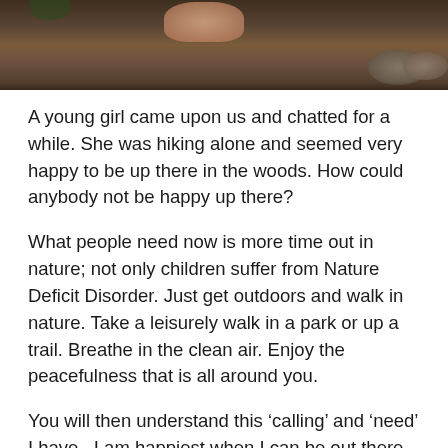[Figure (photo): Partial photo showing a bare foot/toes from above, with rocks, dark soil, and foliage in a forest/wilderness setting.]
A young girl came upon us and chatted for a while. She was hiking alone and seemed very happy to be up there in the woods. How could anybody not be happy up there?
What people need now is more time out in nature; not only children suffer from Nature Deficit Disorder. Just get outdoors and walk in nature. Take a leisurely walk in a park or up a trail. Breathe in the clean air. Enjoy the peacefulness that is all around you.
You will then understand this ‘calling’ and ‘need’ I have.  I am happiest when I can be out there in the wilderness hiking.